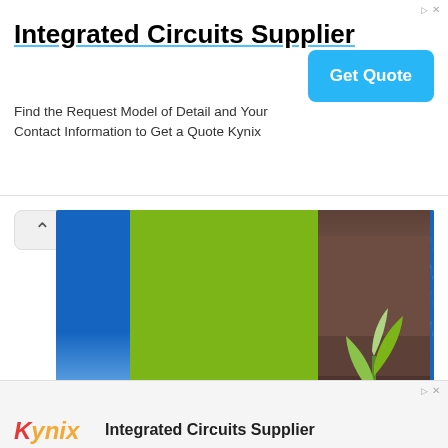[Figure (screenshot): Top advertisement banner for Integrated Circuits Supplier - Kynix. Shows title 'Integrated Circuits Supplier' with underline, body text 'Find the Request Model of Detail and Your Contact Information to Get a Quote Kynix', and a blue 'Get Quote' button on the right.]
[Figure (screenshot): Presentation slide preview titled 'Pollution: Causes & Consequences - Don't be trashy'. Composite image with blue sky on left, green panel with white text in center, a plant seedling growing from soil, and blue water/ocean on the right. Navigation chevron button visible top-left.]
[Figure (screenshot): Bottom of page showing another Kynix Integrated Circuits Supplier advertisement with the Kynix logo in red/orange italic text and 'Integrated Circuits Supplier' text.]